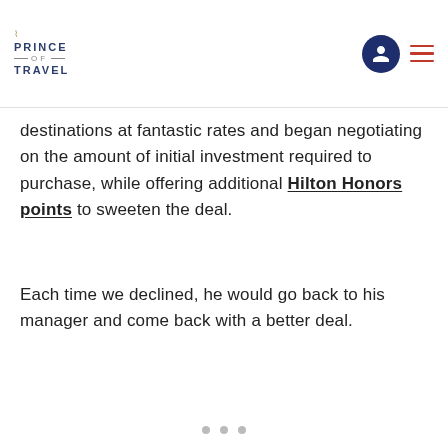Prince of Travel
destinations at fantastic rates and began negotiating on the amount of initial investment required to purchase, while offering additional Hilton Honors points to sweeten the deal.
Each time we declined, he would go back to his manager and come back with a better deal.